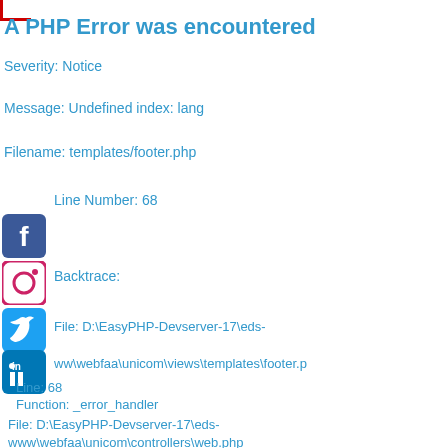A PHP Error was encountered
Severity: Notice
Message: Undefined index: lang
Filename: templates/footer.php
Line Number: 68
Backtrace:
File: D:\EasyPHP-Devserver-17\eds-www\webfaa\unicom\views\templates\footer.p
Line: 68
Function: _error_handler
File: D:\EasyPHP-Devserver-17\eds-www\webfaa\unicom\controllers\web.php